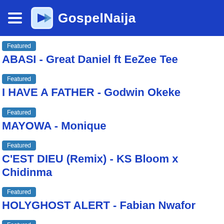GospelNaija
Featured
ABASI - Great Daniel ft EeZee Tee
Featured
I HAVE A FATHER - Godwin Okeke
Featured
MAYOWA - Monique
Featured
C'EST DIEU (Remix) - KS Bloom x Chidinma
Featured
HOLYGHOST ALERT - Fabian Nwafor
Featured
ALL SUFFICIENT GOD - Oluwaseun Akhigbe & Worship Tribe
Featured